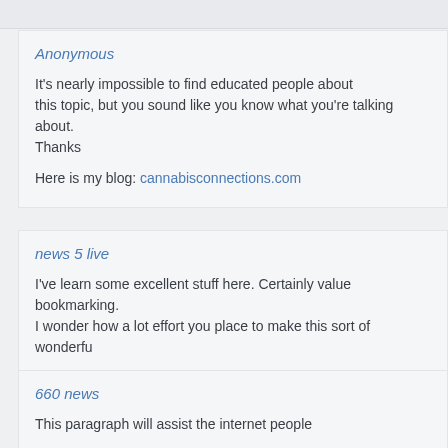Anonymous
It's nearly impossible to find educated people about this topic, but you sound like you know what you're talking about. Thanks
Here is my blog: cannabisconnections.com
news 5 live
I've learn some excellent stuff here. Certainly value bookmarking. I wonder how a lot effort you place to make this sort of wonderfu
660 news
This paragraph will assist the internet people